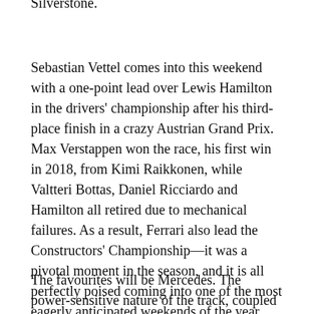Silverstone.
Sebastian Vettel comes into this weekend with a one-point lead over Lewis Hamilton in the drivers' championship after his third-place finish in a crazy Austrian Grand Prix. Max Verstappen won the race, his first win in 2018, from Kimi Raikkonen, while Valtteri Bottas, Daniel Ricciardo and Hamilton all retired due to mechanical failures. As a result, Ferrari also lead the Constructors' Championship—it was a pivotal moment in the season, and it is all perfectly poised coming into one of the most eagerly anticipated weekends of the year.
The favourites will be Mercedes. The power-sensitive nature of the track, coupled with the extra motivation of it